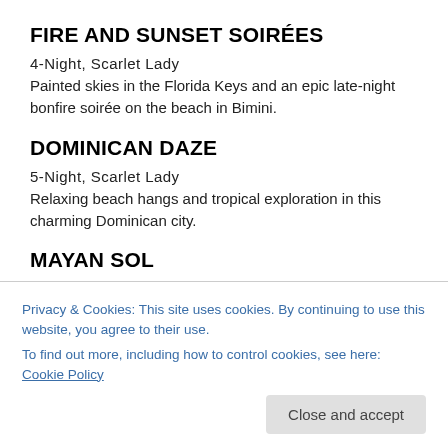FIRE AND SUNSET SOIRÉES
4-Night, Scarlet Lady
Painted skies in the Florida Keys and an epic late-night bonfire soirée on the beach in Bimini.
DOMINICAN DAZE
5-Night, Scarlet Lady
Relaxing beach hangs and tropical exploration in this charming Dominican city.
MAYAN SOL
5-Night, Scarlet Lady
Experience the cultural history of the Mexican coast biking
Privacy & Cookies: This site uses cookies. By continuing to use this website, you agree to their use.
To find out more, including how to control cookies, see here: Cookie Policy
just a stone's throw away from effortlessly cool Tulum.